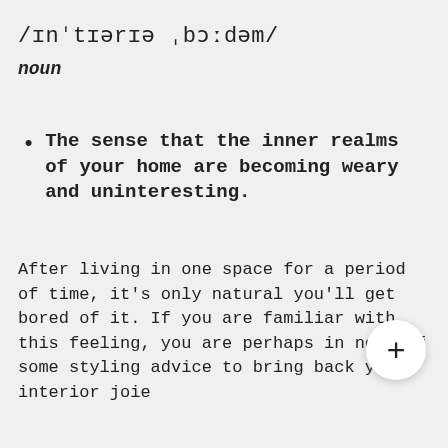/ɪnˈtɪərɪə ˌbɔːdəm/
noun
The sense that the inner realms of your home are becoming weary and uninteresting.
After living in one space for a period of time, it's only natural you'll get bored of it. If you are familiar with this feeling, you are perhaps in need of some styling advice to bring back your interior joie